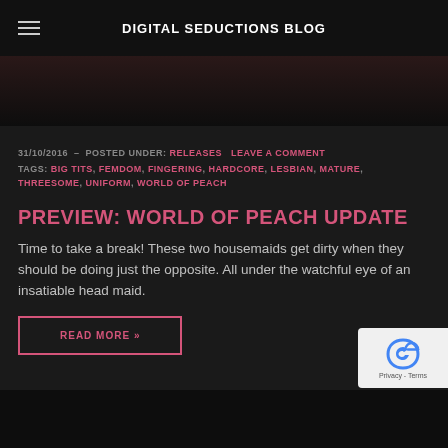DIGITAL SEDUCTIONS BLOG
[Figure (photo): Partial view of a dark background image, appears to be adult content blog header image]
31/10/2016 – POSTED UNDER: RELEASES   LEAVE A COMMENT
TAGS: BIG TITS, FEMDOM, FINGERING, HARDCORE, LESBIAN, MATURE, THREESOME, UNIFORM, WORLD OF PEACH
PREVIEW: WORLD OF PEACH UPDATE
Time to take a break! These two housemaids get dirty when they should be doing just the opposite. All under the watchful eye of an insatiable head maid.
READ MORE »